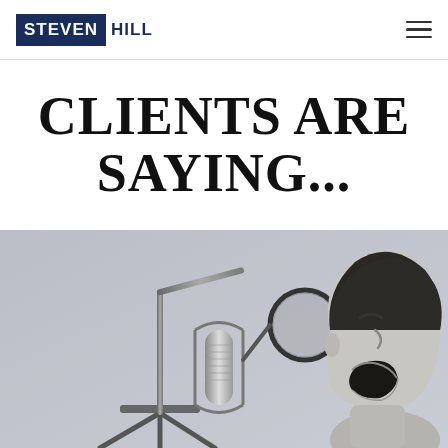STEVEN HILL
CLIENTS ARE SAYING...
[Figure (photo): Black and white photo of a young boy shouting into a professional microphone with a pop filter, set against a light gray background.]